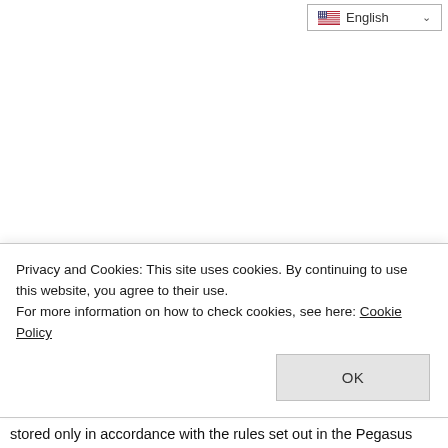[Figure (screenshot): Language selector dropdown showing English with US flag and chevron arrow]
Privacy and Cookies: This site uses cookies. By continuing to use this website, you agree to their use.
For more information on how to check cookies, see here: Cookie Policy
OK
stored only in accordance with the rules set out in the Pegasus